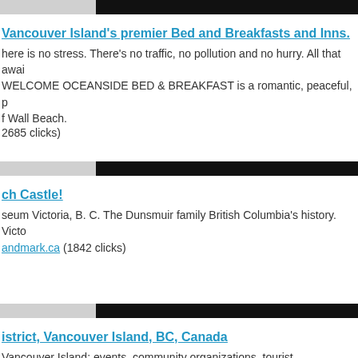[Figure (other): Horizontal divider bar: light gray left portion, dark/black right portion]
Vancouver Island's premier Bed and Breakfasts and Inns.
here is no stress. There's no traffic, no pollution and no hurry. All that awai WELCOME OCEANSIDE BED & BREAKFAST is a romantic, peaceful, p f Wall Beach. 2685 clicks)
[Figure (other): Horizontal divider bar: light gray left portion, dark/black right portion]
ch Castle!
seum Victoria, B. C. The Dunsmuir family British Columbia's history. Victo andmark.ca (1842 clicks)
[Figure (other): Horizontal divider bar: light gray left portion, dark/black right portion]
istrict, Vancouver Island, BC, Canada
Vancouver Island: events, community organizations, tourist accommodat sailing charters.